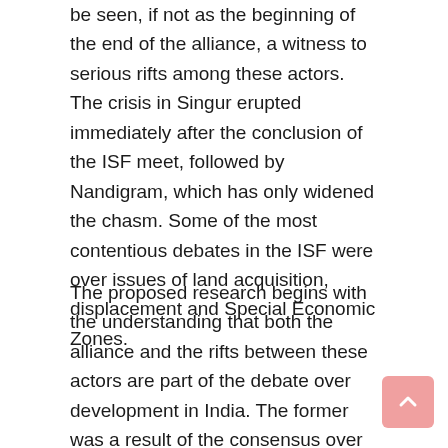be seen, if not as the beginning of the end of the alliance, a witness to serious rifts among these actors. The crisis in Singur erupted immediately after the conclusion of the ISF meet, followed by Nandigram, which has only widened the chasm. Some of the most contentious debates in the ISF were over issues of land acquisition, displacement and Special Economic Zones.
The proposed research begins with the understanding that both the alliance and the rifts between these actors are part of the debate over development in India. The former was a result of the consensus over the need to resist the mainstream development model of neo-liberal or corporate globalisation, and the recognition that effective resistance was possible only with a widest possible united